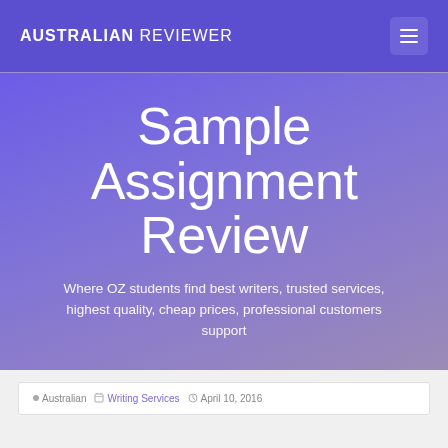AUSTRALIAN REVIEWER
Sample Assignment Review
Where OZ students find best writers, trusted services, highest quality, cheap prices, professional customers support
Australian  Writing Services  April 10, 2016